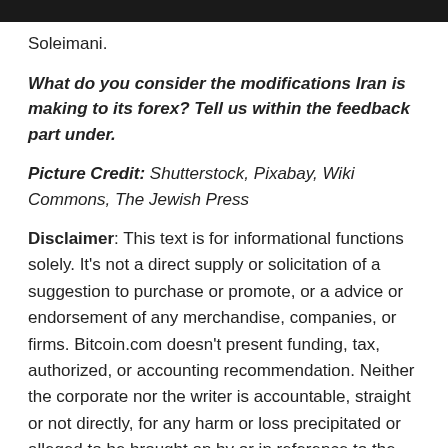Soleimani.
What do you consider the modifications Iran is making to its forex? Tell us within the feedback part under.
Picture Credit: Shutterstock, Pixabay, Wiki Commons, The Jewish Press
Disclaimer: This text is for informational functions solely. It’s not a direct supply or solicitation of a suggestion to purchase or promote, or a advice or endorsement of any merchandise, companies, or firms. Bitcoin.com doesn’t present funding, tax, authorized, or accounting recommendation. Neither the corporate nor the writer is accountable, straight or not directly, for any harm or loss precipitated or alleged to be brought on by or in reference to the usage of or reliance on any content material, items or companies